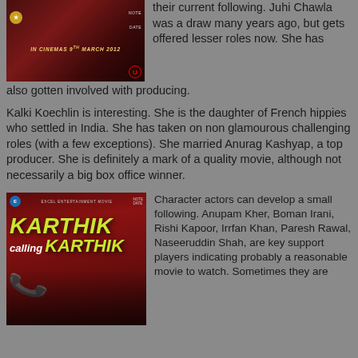[Figure (photo): Movie poster for a film releasing 'In Cinemas 9th March 2012' with dark red background]
their current following. Juhi Chawla was a draw many years ago, but gets offered lesser roles now. She has also gotten involved with producing.
Kalki Koechlin is interesting. She is the daughter of French hippies who settled in India. She has taken on non glamourous challenging roles (with a few exceptions). She married Anurag Kashyap, a top producer. She is definitely a mark of a quality movie, although not necessarily a big box office winner.
[Figure (photo): Movie poster for Karthik Calling Karthik with red background, green phone graphic, and two actors]
Character actors can develop a small following. Anupam Kher, Boman Irani, Rishi Kapoor, Irrfan Khan, Paresh Rawal, Naseeruddin Shah, are key support players indicating probably a reasonable movie to watch. Sometimes they are